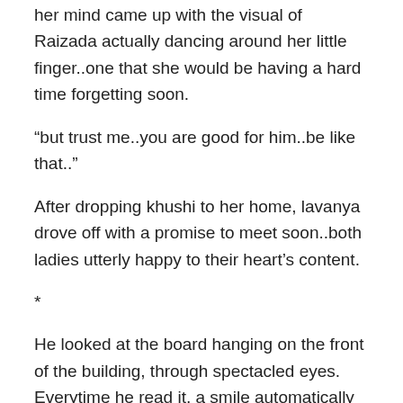her mind came up with the visual of Raizada actually dancing around her little finger..one that she would be having a hard time forgetting soon.
“but trust me..you are good for him..be like that..”
After dropping khushi to her home, lavanya drove off with a promise to meet soon..both ladies utterly happy to their heart’s content.
*
He looked at the board hanging on the front of the building, through spectacled eyes. Everytime he read it, a smile automatically make its way on his wrinkled face. Shifting his glasses higher on the bridge of his nose he read it out aloud, “Snehalaya Gurukul”. Everytime he saw children playing in the garden of his school, an unknowing